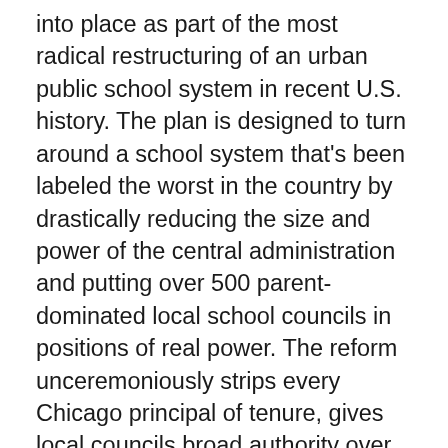into place as part of the most radical restructuring of an urban public school system in recent U.S. history. The plan is designed to turn around a school system that's been labeled the worst in the country by drastically reducing the size and power of the central administration and putting over 500 parent-dominated local school councils in positions of real power. The reform unceremoniously strips every Chicago principal of tenure, gives local councils broad authority over curriculum and budgets, and empowers these councils to hire new principals (who will have vastly increased powers of their own). The plan includes